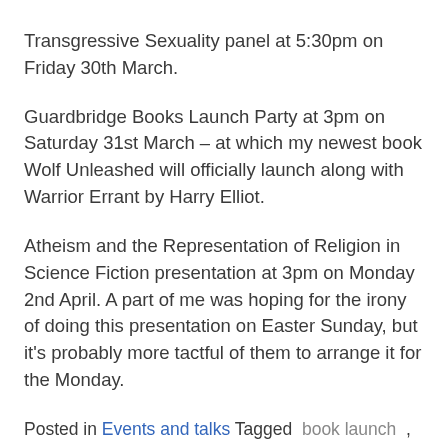Transgressive Sexuality panel at 5:30pm on Friday 30th March.
Guardbridge Books Launch Party at 3pm on Saturday 31st March – at which my newest book Wolf Unleashed will officially launch along with Warrior Errant by Harry Elliot.
Atheism and the Representation of Religion in Science Fiction presentation at 3pm on Monday 2nd April. A part of me was hoping for the irony of doing this presentation on Easter Sunday, but it's probably more tactful of them to arrange it for the Monday.
Posted in Events and talks Tagged book launch , Eastercon , lgbtq+ representation ,